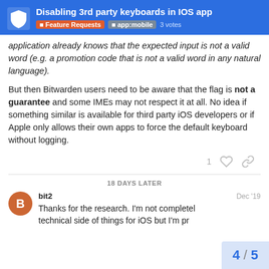Disabling 3rd party keyboards in IOS app | Feature Requests | app:mobile | 3 votes
application already knows that the expected input is not a valid word (e.g. a promotion code that is not a valid word in any natural language).
But then Bitwarden users need to be aware that the flag is not a guarantee and some IMEs may not respect it at all. No idea if something similar is available for third party iOS developers or if Apple only allows their own apps to force the default keyboard without logging.
18 DAYS LATER
bit2 Dec '19
Thanks for the research. I'm not completel technical side of things for iOS but I'm pr